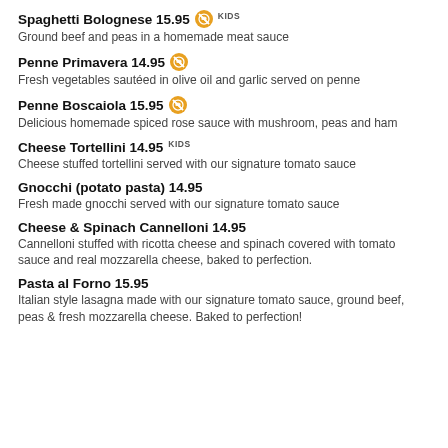Spaghetti Bolognese 15.95 KIDS
Ground beef and peas in a homemade meat sauce
Penne Primavera 14.95
Fresh vegetables sautéed in olive oil and garlic served on penne
Penne Boscaiola 15.95
Delicious homemade spiced rose sauce with mushroom, peas and ham
Cheese Tortellini 14.95 KIDS
Cheese stuffed tortellini served with our signature tomato sauce
Gnocchi (potato pasta) 14.95
Fresh made gnocchi served with our signature tomato sauce
Cheese & Spinach Cannelloni 14.95
Cannelloni stuffed with ricotta cheese and spinach covered with tomato sauce and real mozzarella cheese, baked to perfection.
Pasta al Forno 15.95
Italian style lasagna made with our signature tomato sauce, ground beef, peas & fresh mozzarella cheese. Baked to perfection!